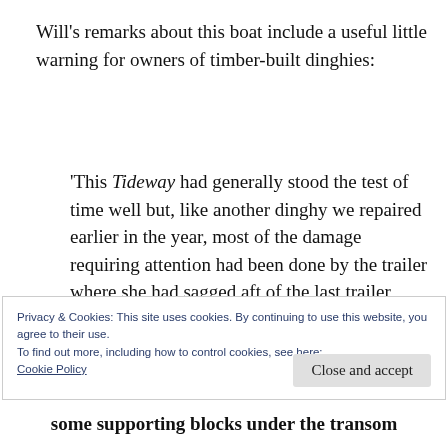Will's remarks about this boat include a useful little warning for owners of timber-built dinghies:
‘This Tideway had generally stood the test of time well but, like another dinghy we repaired earlier in the year, most of the damage requiring attention had been done by the trailer where she had sagged aft of the last trailer roller.
Privacy & Cookies: This site uses cookies. By continuing to use this website, you agree to their use.
To find out more, including how to control cookies, see here: Cookie Policy
Close and accept
some supporting blocks under the transom